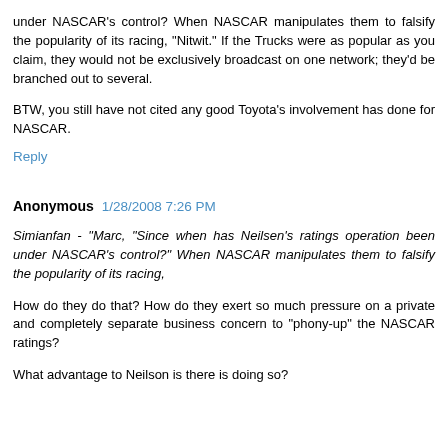under NASCAR's control? When NASCAR manipulates them to falsify the popularity of its racing, "Nitwit." If the Trucks were as popular as you claim, they would not be exclusively broadcast on one network; they'd be branched out to several.
BTW, you still have not cited any good Toyota's involvement has done for NASCAR.
Reply
Anonymous 1/28/2008 7:26 PM
Simianfan - "Marc, "Since when has Neilsen's ratings operation been under NASCAR's control?" When NASCAR manipulates them to falsify the popularity of its racing,
How do they do that? How do they exert so much pressure on a private and completely separate business concern to "phony-up" the NASCAR ratings?
What advantage to Neilson is there is doing so?